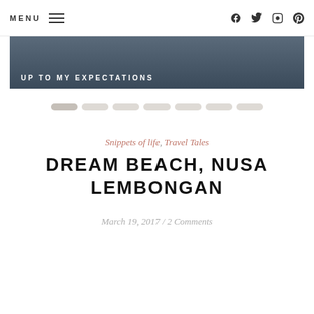MENU
[Figure (photo): Hero image strip showing landscape with text 'UP TO MY EXPECTATIONS' overlaid in white uppercase letters]
[Figure (other): Slider pagination dots — 7 oval pill-shaped dots, first one slightly darker indicating active slide]
Snippets of life, Travel Tales
DREAM BEACH, NUSA LEMBONGAN
March 19, 2017 / 2 Comments